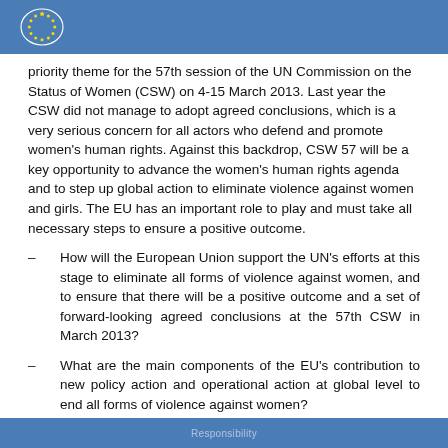European Parliament header with logo
priority theme for the 57th session of the UN Commission on the Status of Women (CSW) on 4-15 March 2013. Last year the CSW did not manage to adopt agreed conclusions, which is a very serious concern for all actors who defend and promote women's human rights. Against this backdrop, CSW 57 will be a key opportunity to advance the women's human rights agenda and to step up global action to eliminate violence against women and girls. The EU has an important role to play and must take all necessary steps to ensure a positive outcome.
How will the European Union support the UN's efforts at this stage to eliminate all forms of violence against women, and to ensure that there will be a positive outcome and a set of forward-looking agreed conclusions at the 57th CSW in March 2013?
What are the main components of the EU's contribution to new policy action and operational action at global level to end all forms of violence against women?
Responsibility